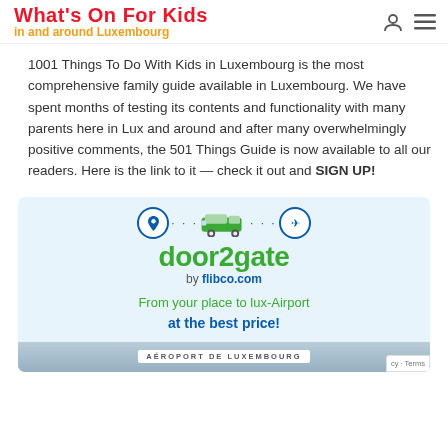What's On For Kids in and around Luxembourg
1001 Things To Do With Kids in Luxembourg is the most comprehensive family guide available in Luxembourg. We have spent months of testing its contents and functionality with many parents here in Lux and around and after many overwhelmingly positive comments, the 501 Things Guide is now available to all our readers. Here is the link to it — check it out and SIGN UP!
[Figure (infographic): door2gate by flibco.com advertisement banner. Shows location pin icon, dotted path, shuttle van, dotted path, airplane icon. Text: door2gate by flibco.com. From your place to lux-Airport at the best price! Airport strip at bottom showing AEROPORT DE LUXEMBOURG.]